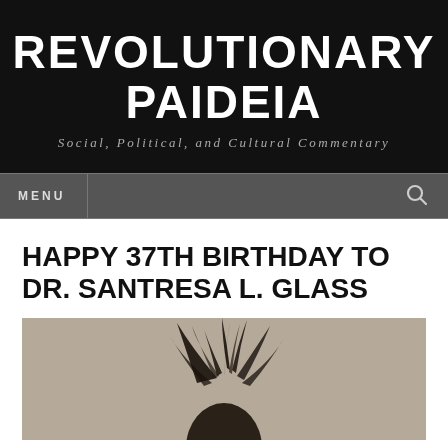REVOLUTIONARY PAIDEIA
Social, Political, and Cultural Commentary
MENU
HAPPY 37TH BIRTHDAY TO DR. SANTRESA L. GLASS
[Figure (photo): A partial view of a person with dark feathers or a feathered accessory in their hair, set against a beige/tan background.]